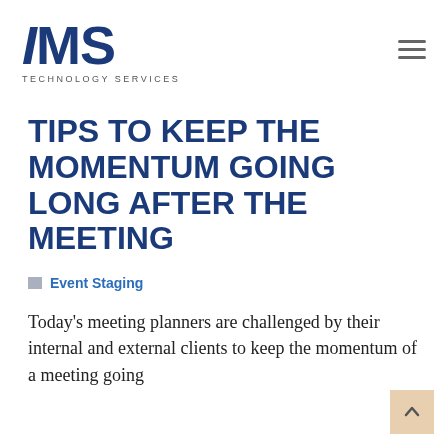[Figure (logo): IMS Technology Services logo — bold blue 'IMS' text with tagline 'TECHNOLOGY SERVICES' beneath]
TIPS TO KEEP THE MOMENTUM GOING LONG AFTER THE MEETING
Event Staging
Today's meeting planners are challenged by their internal and external clients to keep the momentum of a meeting going